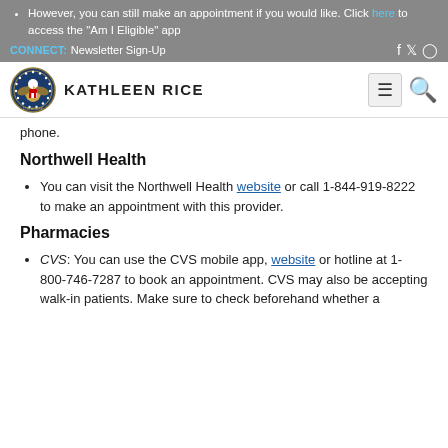However, you can still make an appointment if you would like. Click here to access the "Am I Eligible" app
[Figure (logo): US House of Representatives seal logo with KATHLEEN RICE text and navigation icons]
phone.
Northwell Health
You can visit the Northwell Health website or call 1-844-919-8222 to make an appointment with this provider.
Pharmacies
CVS: You can use the CVS mobile app, website or hotline at 1-800-746-7287 to book an appointment. CVS may also be accepting walk-in patients. Make sure to check beforehand whether a